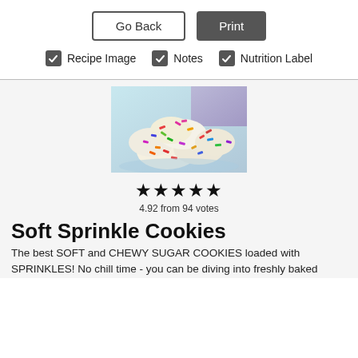Go Back
Print
Recipe Image
Notes
Nutrition Label
[Figure (photo): A pile of soft sugar cookies covered in colorful sprinkles on a light blue surface with a purple background]
4.92 from 94 votes
Soft Sprinkle Cookies
The best SOFT and CHEWY SUGAR COOKIES loaded with SPRINKLES! No chill time - you can be diving into freshly baked cookies in about an hour.